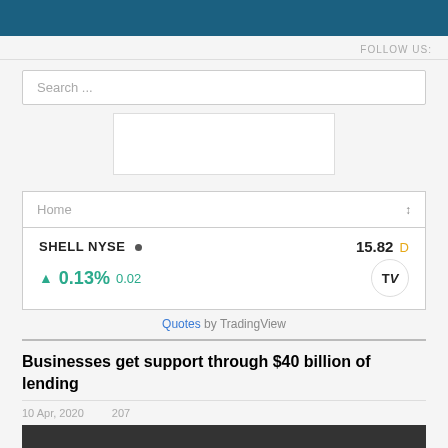FOLLOW US:
Search ...
[Figure (other): Advertisement or empty box placeholder]
Home
[Figure (other): Stock ticker widget: SHELL NYSE • 15.82 D, ^ 0.13% 0.02, TradingView logo]
Quotes by TradingView
Businesses get support through $40 billion of lending
10 Apr, 2020   207
[Figure (photo): Photo of a person, partially visible at bottom of page]